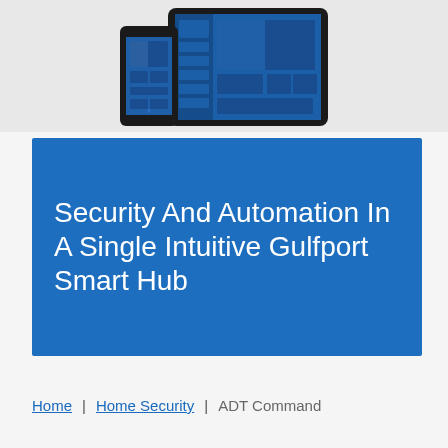[Figure (screenshot): Screenshot of ADT smart home app displayed on a phone and tablet device, showing a blue dashboard interface with security camera feeds and controls.]
Security And Automation In A Single Intuitive Gulfport Smart Hub
Home | Home Security | ADT Command